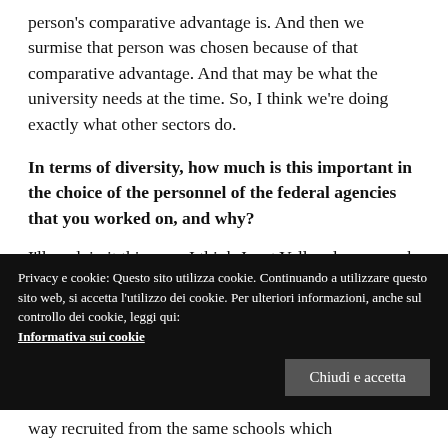person's comparative advantage is. And then we surmise that person was chosen because of that comparative advantage. And that may be what the university needs at the time. So, I think we're doing exactly what other sectors do.
In terms of diversity, how much is this important in the choice of the personnel of the federal agencies that you worked on, and why?
I'll explain it this way: I think Janet Yellen does a much better job than I do. She said that the cause of the financial crisis was, in fact, that the people way recruited from the same schools which
Privacy e cookie: Questo sito utilizza cookie. Continuando a utilizzare questo sito web, si accetta l'utilizzo dei cookie. Per ulteriori informazioni, anche sul controllo dei cookie, leggi qui: Informativa sui cookie
Chiudi e accetta